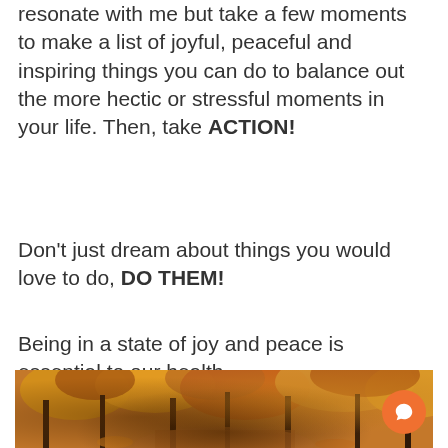resonate with me but take a few moments to make a list of joyful, peaceful and inspiring things you can do to balance out the more hectic or stressful moments in your life. Then, take ACTION!
Don't just dream about things you would love to do, DO THEM!
Being in a state of joy and peace is essential to our health.
#loveyourself, #youdeserveit!, #revivalnutritionandhealth, #taketimeforyou
[Figure (photo): Autumn forest path with orange and golden fall foliage trees]